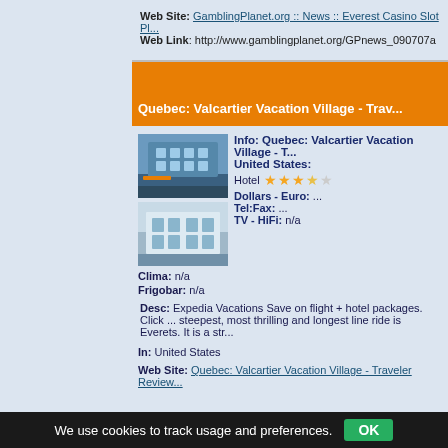Web Site: GamblingPlanet.org :: News :: Everest Casino Slot Pl...
Web Link: http://www.gamblingplanet.org/GPnews_090707a
Quebec: Valcartier Vacation Village - Trav...
[Figure (photo): Two photos of Valcartier Vacation Village hotel building]
Info: Quebec: Valcartier Vacation Village - T... United States:
Hotel ★★★☆☆
Dollars - Euro: ...
Tel:Fax: ...
TV - HiFi: n/a
Clima: n/a
Frigobar: n/a
Desc: Expedia Vacations Save on flight + hotel packages. Click ... steepest, most thrilling and longest line ride is Everets. It is a str...
In: United States
Web Site: Quebec: Valcartier Vacation Village - Traveler Review...
We use cookies to track usage and preferences. OK